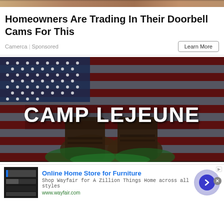[Figure (photo): Top strip showing partial image - tan/brown tones, appears to be a partial photo strip]
Homeowners Are Trading In Their Doorbell Cams For This
Camerca | Sponsored
Learn More
[Figure (photo): Camp Lejeune advertisement image showing military boots and American flag background with large text 'CAMP LEJEUNE' in grunge style white lettering]
[Figure (photo): Wayfair advertisement showing furniture thumbnail and arrow button. Title: Online Home Store for Furniture. Description: Shop Wayfair for A Zillion Things Home across all styles. URL: www.wayfair.com]